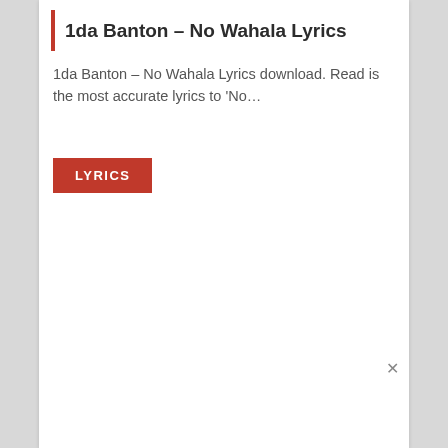1da Banton – No Wahala Lyrics
1da Banton – No Wahala Lyrics download. Read is the most accurate lyrics to 'No…
LYRICS
×